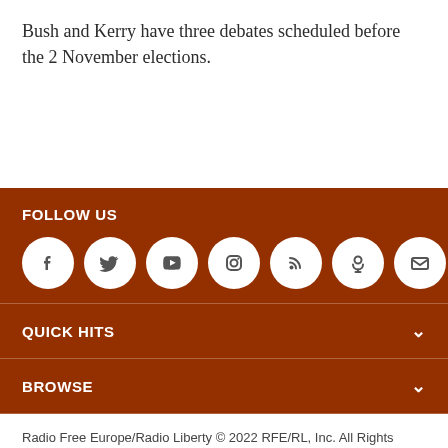Bush and Kerry have three debates scheduled before the 2 November elections.
FOLLOW US
[Figure (infographic): Row of 7 circular white social media icon buttons on brown background: Facebook, Twitter, YouTube, Instagram, RSS, Podcast, Email]
QUICK HITS
BROWSE
Radio Free Europe/Radio Liberty © 2022 RFE/RL, Inc. All Rights Reserved.